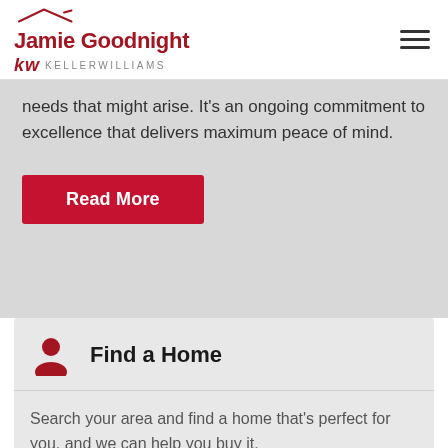Jamie Goodnight kw KELLERWILLIAMS
needs that might arise. It's an ongoing commitment to excellence that delivers maximum peace of mind.
Read More
Find a Home
Search your area and find a home that's perfect for you, and we can help you buy it.